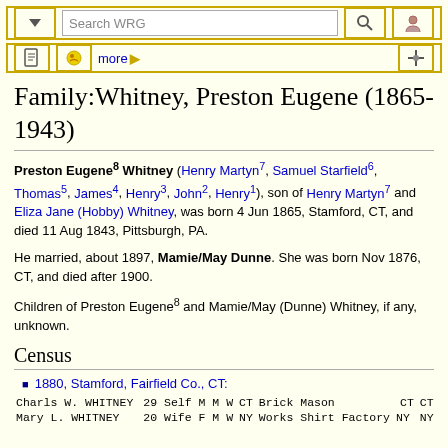[Figure (screenshot): Browser toolbar with dropdown arrow, search box with 'Search WRG' placeholder, magnifier icon button, and person icon button, all with yellow/gold borders on cream background]
[Figure (screenshot): Second toolbar row with document icon, chat/comment icon, 'more ▶' link, and tools icon, all with yellow/gold borders]
Family:Whitney, Preston Eugene (1865-1943)
Preston Eugene⁸ Whitney (Henry Martyn⁷, Samuel Starfield⁶, Thomas⁵, James⁴, Henry³, John², Henry¹), son of Henry Martyn⁷ and Eliza Jane (Hobby) Whitney, was born 4 Jun 1865, Stamford, CT, and died 11 Aug 1843, Pittsburgh, PA.
He married, about 1897, Mamie/May Dunne. She was born Nov 1876, CT, and died after 1900.
Children of Preston Eugene⁸ and Mamie/May (Dunne) Whitney, if any, unknown.
Census
1880, Stamford, Fairfield Co., CT:
| Charls W. WHITNEY | 29 | Self | M | M | W | CT | Brick Mason | CT | CT |
| Mary L. WHITNEY | 20 | Wife | F | M | W | NY | Works Shirt Factory | NY | NY |